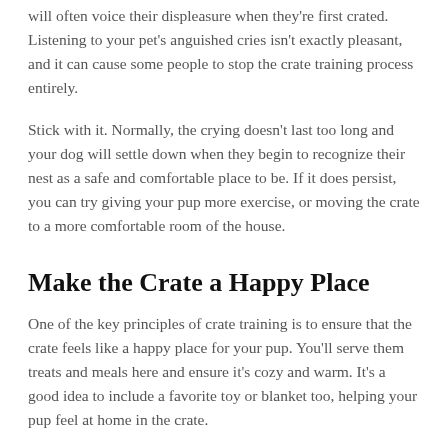will often voice their displeasure when they're first crated. Listening to your pet's anguished cries isn't exactly pleasant, and it can cause some people to stop the crate training process entirely.
Stick with it. Normally, the crying doesn't last too long and your dog will settle down when they begin to recognize their nest as a safe and comfortable place to be. If it does persist, you can try giving your pup more exercise, or moving the crate to a more comfortable room of the house.
Make the Crate a Happy Place
One of the key principles of crate training is to ensure that the crate feels like a happy place for your pup. You'll serve them treats and meals here and ensure it's cozy and warm. It's a good idea to include a favorite toy or blanket too, helping your pup feel at home in the crate.